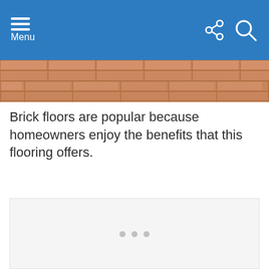Menu
[Figure (photo): Brick floor tile pattern, terracotta colored bricks laid in a grid pattern, photographed from above]
Brick floors are popular because homeowners enjoy the benefits that this flooring offers.
[Figure (other): Advertisement placeholder area with light gray background and three dots indicating a loading or carousel indicator]